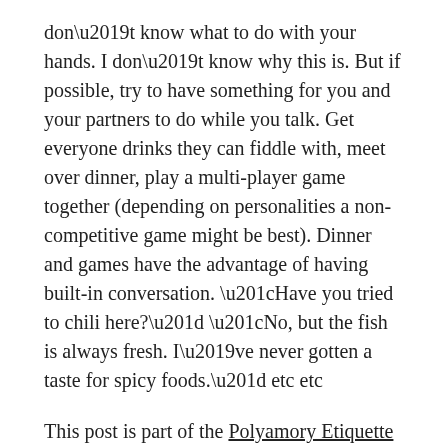don't know what to do with your hands. I don't know why this is. But if possible, try to have something for you and your partners to do while you talk. Get everyone drinks they can fiddle with, meet over dinner, play a multi-player game together (depending on personalities a non-competitive game might be best). Dinner and games have the advantage of having built-in conversation. “Have you tried to chili here?” “No, but the fish is always fresh. I’ve never gotten a taste for spicy foods.” etc etc
This post is part of the Polyamory Etiquette blog series.
Want more great articles?